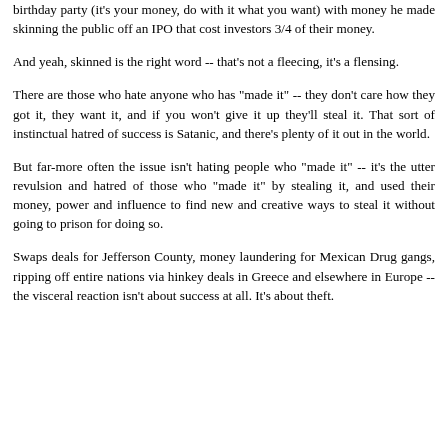birthday party (it's your money, do with it what you want) with money he made skinning the public off an IPO that cost investors 3/4 of their money.
And yeah, skinned is the right word -- that's not a fleecing, it's a flensing.
There are those who hate anyone who has "made it" -- they don't care how they got it, they want it, and if you won't give it up they'll steal it. That sort of instinctual hatred of success is Satanic, and there's plenty of it out in the world.
But far-more often the issue isn't hating people who "made it" -- it's the utter revulsion and hatred of those who "made it" by stealing it, and used their money, power and influence to find new and creative ways to steal it without going to prison for doing so.
Swaps deals for Jefferson County, money laundering for Mexican Drug gangs, ripping off entire nations via hinkey deals in Greece and elsewhere in Europe -- the visceral reaction isn't about success at all. It's about theft.